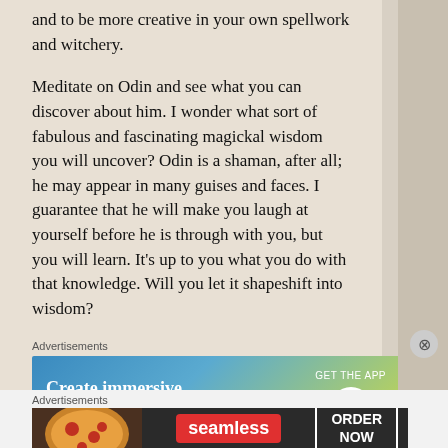and to be more creative in your own spellwork and witchery.
Meditate on Odin and see what you can discover about him. I wonder what sort of fabulous and fascinating magickal wisdom you will uncover? Odin is a shaman, after all; he may appear in many guises and faces. I guarantee that he will make you laugh at yourself before he is through with you, but you will learn. It's up to you what you do with that knowledge. Will you let it shapeshift into wisdom?
Advertisements
[Figure (other): WordPress advertisement banner: 'Create immersive stories. GET THE APP' with WordPress logo]
Advertisements
[Figure (other): Seamless food delivery advertisement banner with pizza image, seamless logo, and ORDER NOW button]